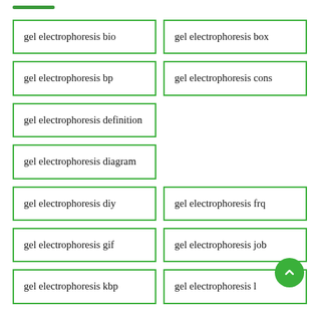gel electrophoresis bio
gel electrophoresis box
gel electrophoresis bp
gel electrophoresis cons
gel electrophoresis definition
gel electrophoresis diagram
gel electrophoresis diy
gel electrophoresis frq
gel electrophoresis gif
gel electrophoresis job
gel electrophoresis kbp
gel electrophoresis l…